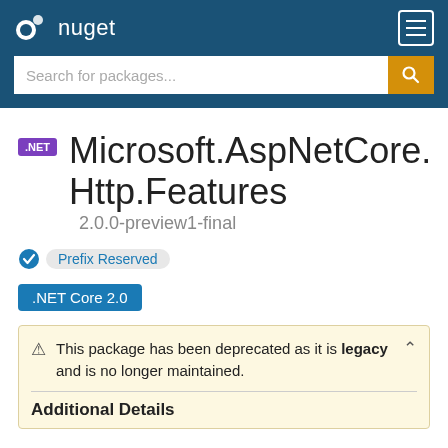nuget
Search for packages...
Microsoft.AspNetCore.Http.Features 2.0.0-preview1-final
Prefix Reserved
.NET Core 2.0
This package has been deprecated as it is legacy and is no longer maintained.
Additional Details